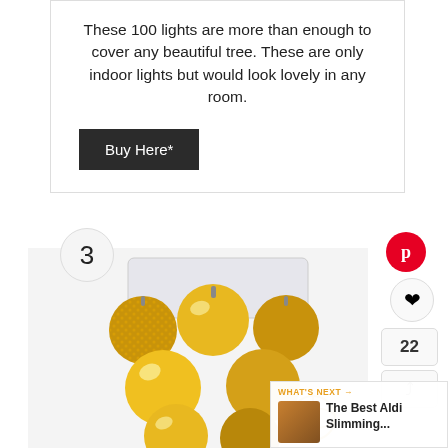These 100 lights are more than enough to cover any beautiful tree. These are only indoor lights but would look lovely in any room.
Buy Here*
3
[Figure (photo): A collection of gold Christmas ornament balls in various finishes (shiny, matte, glitter) packed together in a clear container, photographed against a white background.]
22
WHAT'S NEXT → The Best Aldi Slimming...
Privacy · Terms